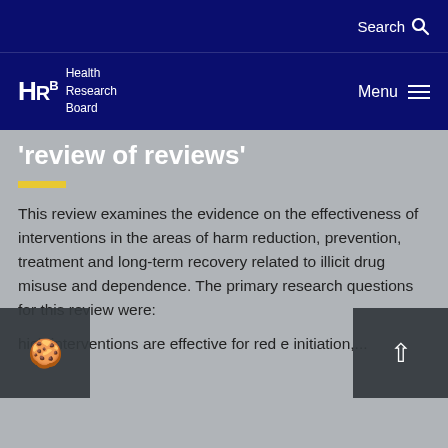Search
[Figure (logo): HRB Health Research Board logo with navigation menu button]
'review of reviews'
This review examines the evidence on the effectiveness of interventions in the areas of harm reduction, prevention, treatment and long-term recovery related to illicit drug misuse and dependence. The primary research questions for this review were:
hich interventions are effective for red e initiation,...